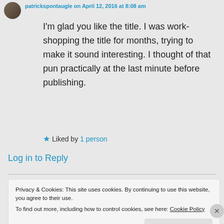patrickspontaugle on April 12, 2016 at 8:08 am
I'm glad you like the title. I was work-shopping the title for months, trying to make it sound interesting. I thought of that pun practically at the last minute before publishing.
★ Liked by 1 person
Log in to Reply
Privacy & Cookies: This site uses cookies. By continuing to use this website, you agree to their use.
To find out more, including how to control cookies, see here: Cookie Policy